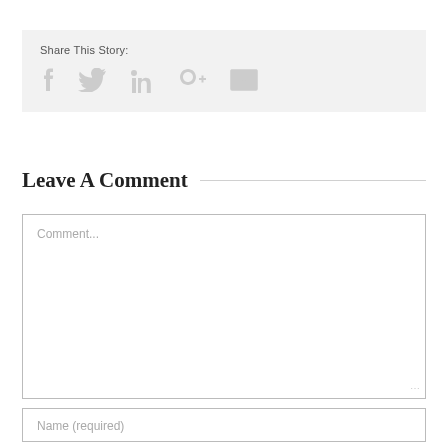Share This Story:
[Figure (infographic): Social sharing icons: Facebook, Twitter, LinkedIn, Google+, Email — rendered in light gray]
Leave A Comment
Comment...
Name (required)